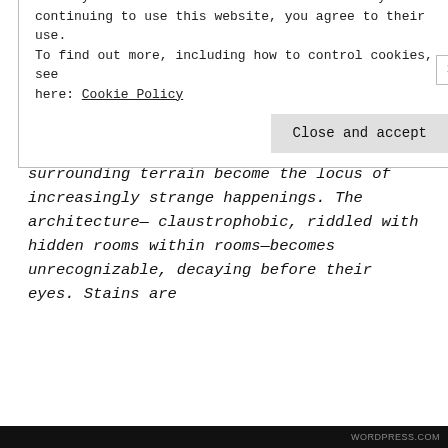behind their usual haunts and start afresh. But this house, which sits between ocean and forest, has plans for the unsuspecting couple. As Julie and James try to settle into their home and their relationship, the house and its surrounding terrain become the locus of increasingly strange happenings. The architecture—claustrophobic, riddled with hidden rooms within rooms—becomes unrecognizable, decaying before their eyes. Stains are
Privacy & Cookies: This site uses cookies. By continuing to use this website, you agree to their use. To find out more, including how to control cookies, see here: Cookie Policy

Close and accept